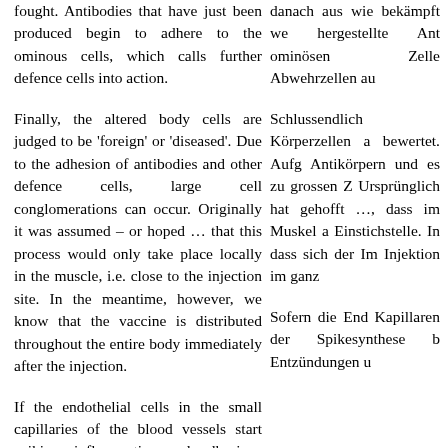fought. Antibodies that have just been produced begin to adhere to the ominous cells, which calls further defence cells into action.
Finally, the altered body cells are judged to be 'foreign' or 'diseased'. Due to the adhesion of antibodies and other defence cells, large cell conglomerations can occur. Originally it was assumed – or hoped … that this process would only take place locally in the muscle, i.e. close to the injection site. In the meantime, however, we know that the vaccine is distributed throughout the entire body immediately after the injection.
If the endothelial cells in the small capillaries of the blood vessels start spiking, inflammation and adhesions can occur there, especially since platelets participate
danach aus wie bekämpft we hergestellte Ant ominösen Zelle Abwehrzellen au
Schlussendlich Körperzellen a bewertet. Aufg Antikörpern und es zu grossen Z Ursprünglich hat gehofft …, dass im Muskel a Einstichstelle. In dass sich der Im Injektion im ganz
Sofern die End Kapillaren der Spikesynthese b Entzündungen u